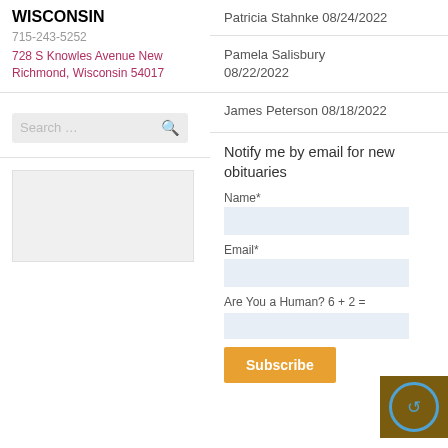WISCONSIN
715-243-5252
728 S Knowles Avenue New Richmond, Wisconsin 54017
Patricia Stahnke 08/24/2022
Pamela Salisbury 08/22/2022
James Peterson 08/18/2022
Notify me by email for new obituaries
Name*
Email*
Are You a Human? 6 + 2 =
Subscribe